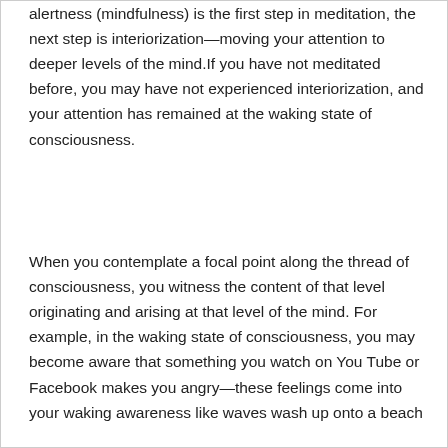alertness (mindfulness) is the first step in meditation, the next step is interiorization—moving your attention to deeper levels of the mind.If you have not meditated before, you may have not experienced interiorization, and your attention has remained at the waking state of consciousness.

When you contemplate a focal point along the thread of consciousness, you witness the content of that level originating and arising at that level of the mind. For example, in the waking state of consciousness, you may become aware that something you watch on You Tube or Facebook makes you angry—these feelings come into your waking awareness like waves wash up onto a beach